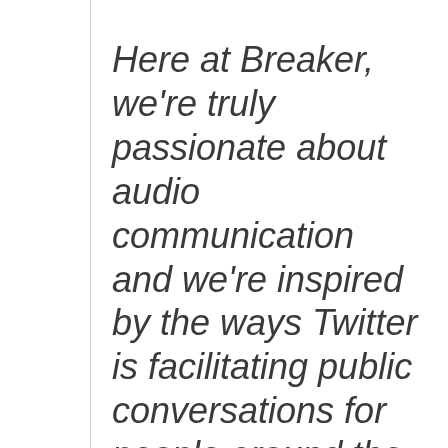Here at Breaker, we're truly passionate about audio communication and we're inspired by the ways Twitter is facilitating public conversations for people around the world. We're impressed by the entrepreneurial spirit at Twitter and